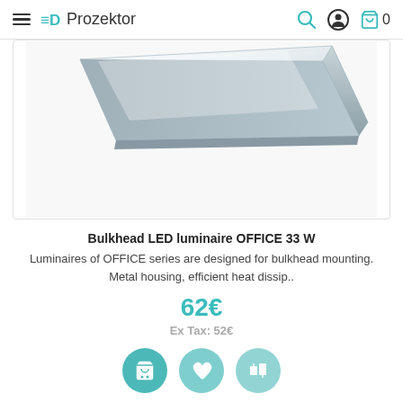≡D Prozektor
[Figure (photo): White rectangular LED luminaire panel photographed at an angle against a white background, showing a slim flat panel with a frosted diffuser cover.]
Bulkhead LED luminaire OFFICE 33 W
Luminaires of OFFICE series are designed for bulkhead mounting. Metal housing, efficient heat dissip..
62€
Ex Tax: 52€